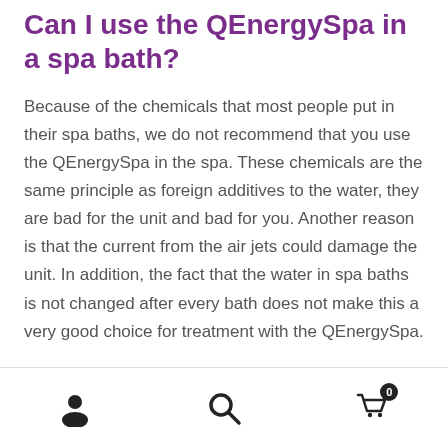Can I use the QEnergySpa in a spa bath?
Because of the chemicals that most people put in their spa baths, we do not recommend that you use the QEnergySpa in the spa. These chemicals are the same principle as foreign additives to the water, they are bad for the unit and bad for you. Another reason is that the current from the air jets could damage the unit. In addition, the fact that the water in spa baths is not changed after every bath does not make this a very good choice for treatment with the QEnergySpa.
Navigation icons: user, search, cart (0)